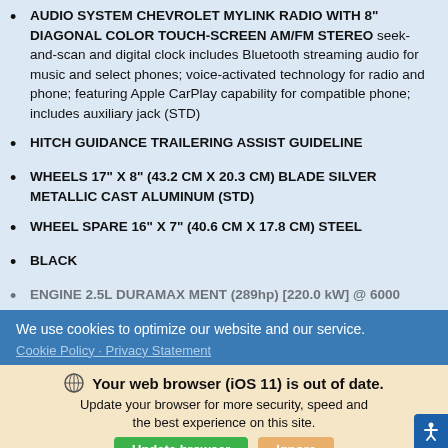AUDIO SYSTEM CHEVROLET MYLINK RADIO WITH 8" DIAGONAL COLOR TOUCH-SCREEN AM/FM STEREO seek-and-scan and digital clock includes Bluetooth streaming audio for music and select phones; voice-activated technology for radio and phone; featuring Apple CarPlay capability for compatible phone; includes auxiliary jack (STD)
HITCH GUIDANCE TRAILERING ASSIST GUIDELINE
WHEELS 17" X 8" (43.2 CM X 20.3 CM) BLADE SILVER METALLIC CAST ALUMINUM (STD)
WHEEL SPARE 16" X 7" (40.6 CM X 17.8 CM) STEEL
BLACK
ENGINE 2.5L DURAMAX MENT (289hp) [220.0 kW] @ 6000
We use cookies to optimize our website and our service.
Cookie Policy · Privacy Statement
Your web browser (iOS 11) is out of date. Update your browser for more security, speed and the best experience on this site.